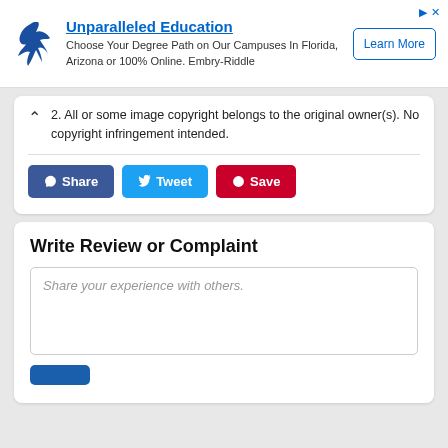[Figure (logo): Embry-Riddle eagle logo with advertisement banner: 'Unparalleled Education - Choose Your Degree Path on Our Campuses In Florida, Arizona or 100% Online. Embry-Riddle' with a 'Learn More' button]
2. All or some image copyright belongs to the original owner(s). No copyright infringement intended.
Share  Tweet  Save
Write Review or Complaint
Share your experience with others.